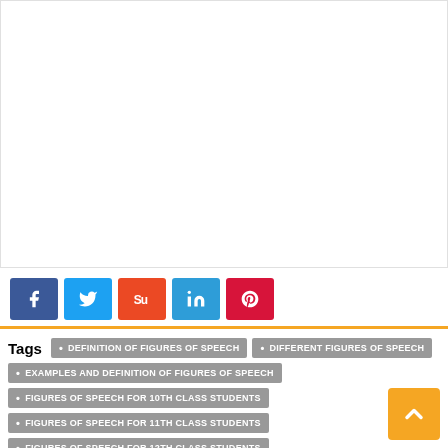[Figure (other): White blank area (advertisement or content area)]
[Figure (infographic): Social media share buttons: Facebook (blue), Twitter (light blue), StumbleUpon (orange-red), LinkedIn (blue), Pinterest (red)]
Tags • DEFINITION OF FIGURES OF SPEECH • DIFFERENT FIGURES OF SPEECH • EXAMPLES AND DEFINITION OF FIGURES OF SPEECH • FIGURES OF SPEECH FOR 10TH CLASS STUDENTS • FIGURES OF SPEECH FOR 11TH CLASS STUDENTS • FIGURES OF SPEECH FOR 12TH CLASS STUDENTS • FIGURES OF SPEECH FOR 9TH CLASS STUDENTS